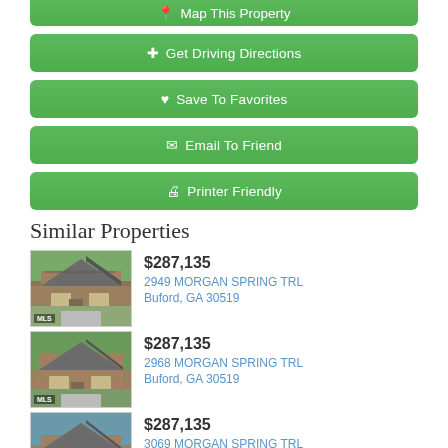[Figure (other): Green button: Map This Property (partially visible at top)]
[Figure (other): Green button: Get Driving Directions with crosshair icon]
[Figure (other): Green button: Save To Favorites with heart icon]
[Figure (other): Green button: Email To Friend with envelope icon]
[Figure (other): Green button: Printer Friendly with printer icon]
Similar Properties
[Figure (photo): Photo of house at 2949 Morgan Spring Trl]
$287,135
2949 MORGAN SPRING TRL
Buford, GA 30519
[Figure (photo): Photo of house at 2968 Morgan Spring Trl]
$287,135
2968 MORGAN SPRING TRL
Buford, GA 30519
[Figure (photo): Photo of house at 3069 Morgan Spring Trl]
$287,135
3069 MORGAN SPRING TRL
Buford, GA 30519